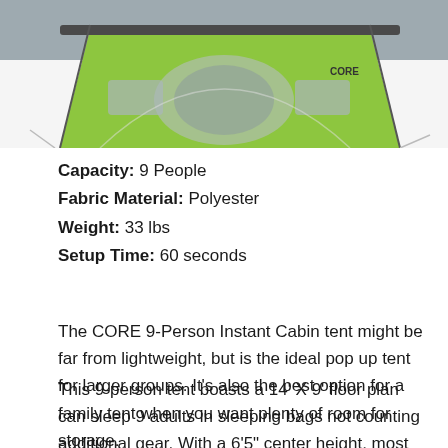[Figure (photo): Green and grey CORE 9-Person Instant Cabin tent shown from the front, partially cropped at top of page]
Capacity: 9 People
Fabric Material: Polyester
Weight: 33 lbs
Setup Time: 60 seconds
The CORE 9-Person Instant Cabin tent might be far from lightweight, but is the ideal pop up tent for larger groups. It's also the best option for a family tent when you want plenty of room for storage.
This 9-person tent boasts a 14' X 9' floor plan can sleep 9 adults in sleeping bags not counting additional gear. With a 6'5" center height, most adults